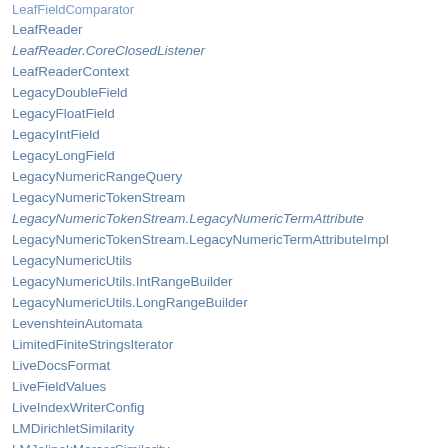LeafReader
LeafReader.CoreClosedListener
LeafReaderContext
LegacyDoubleField
LegacyFloatField
LegacyIntField
LegacyLongField
LegacyNumericRangeQuery
LegacyNumericTokenStream
LegacyNumericTokenStream.LegacyNumericTermAttribute
LegacyNumericTokenStream.LegacyNumericTermAttributeImpl
LegacyNumericUtils
LegacyNumericUtils.IntRangeBuilder
LegacyNumericUtils.LongRangeBuilder
LevenshteinAutomata
LimitedFiniteStringsIterator
LiveDocsFormat
LiveFieldValues
LiveIndexWriterConfig
LMDirichletSimilarity
LMJelinekMercerSimilarity
LMSimilarity
LMSimilarity.CollectionModel
LMSimilarity.DefaultCollectionModel
LMSimilarity.LMStats
Lock
LockFactory
LockObtainFailedException